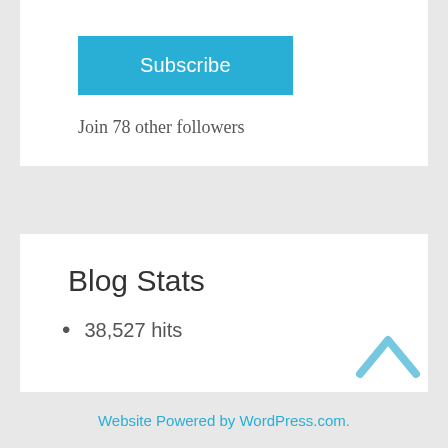Subscribe
Join 78 other followers
Blog Stats
38,527 hits
Website Powered by WordPress.com.